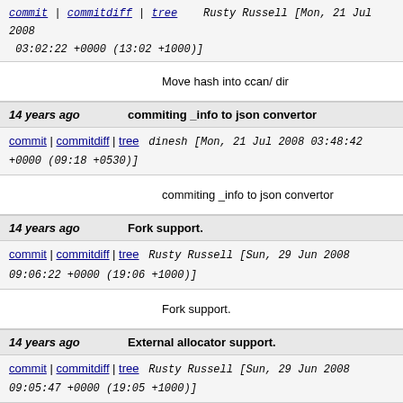commit | commitdiff | tree   Rusty Russell [Mon, 21 Jul 2008 03:02:22 +0000 (13:02 +1000)]
Move hash into ccan/ dir
14 years ago   commiting _info to json convertor
commit | commitdiff | tree   dinesh [Mon, 21 Jul 2008 03:48:42 +0000 (09:18 +0530)]
commiting _info to json convertor
14 years ago   Fork support.
commit | commitdiff | tree   Rusty Russell [Sun, 29 Jun 2008 09:06:22 +0000 (19:06 +1000)]
Fork support.
14 years ago   External allocator support.
commit | commitdiff | tree   Rusty Russell [Sun, 29 Jun 2008 09:05:47 +0000 (19:05 +1000)]
External allocator support.
14 years ago   Add alloc_size(): every allocator has to be able to answer this, since